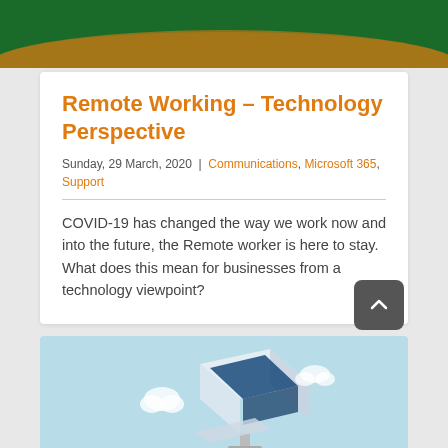[Figure (illustration): Green header banner with orange arc decoration at the top of the page]
Remote Working – Technology Perspective
Sunday, 29 March, 2020  |  Communications, Microsoft 365, Support
COVID-19 has changed the way we work now and into the future, the Remote worker is here to stay. What does this mean for businesses from a technology viewpoint?
[Figure (illustration): Light blue card at the bottom with isometric illustration of remote working / technology concept]